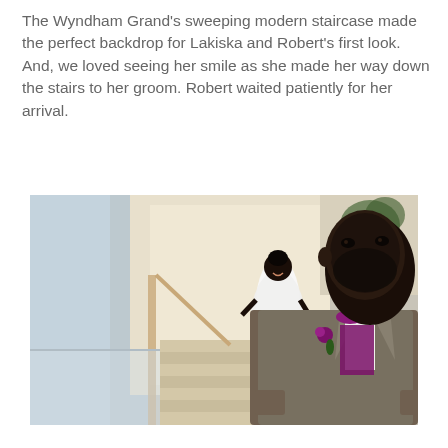The Wyndham Grand's sweeping modern staircase made the perfect backdrop for Lakiska and Robert's first look. And, we loved seeing her smile as she made her way down the stairs to her groom. Robert waited patiently for her arrival.
[Figure (photo): Wedding photo showing a groom in a grey suit with purple bow tie and boutonnière standing in the foreground facing away, while the bride in a white wedding dress smiles and walks down a modern staircase in the background at the Wyndham Grand.]